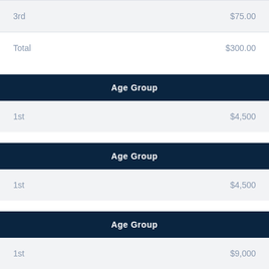|  |  |
| --- | --- |
| 3rd | $75.00 |
| Total | $300.00 |
| Age Group |  |
| --- | --- |
| 1st | $4,500 |
| Age Group |  |
| --- | --- |
| 1st | $4,500 |
| Age Group |  |
| --- | --- |
| 1st | $9,000 |